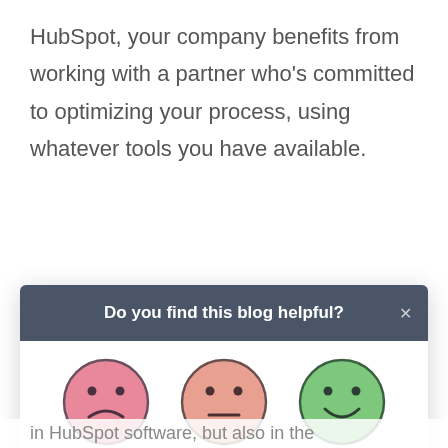HubSpot, your company benefits from working with a partner who's committed to optimizing your process, using whatever tools you have available.
Proven Expertise and Industry-Leading Credentials
[Figure (screenshot): A modal dialog with dark blue-gray header reading 'Do you find this blog helpful?' with an X close button. Below are three emoji faces: a sad face (pink/red), a neutral face (light pink/salmon), and a happy face (green).]
in HubSpot software, but also in the